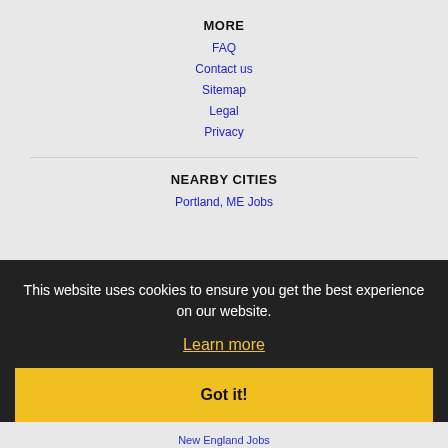MORE
FAQ
Contact us
Sitemap
Legal
Privacy
NEARBY CITIES
Portland, ME Jobs
This website uses cookies to ensure you get the best experience on our website.
Learn more
Got it!
Home  Profile and Resume  Browse Jobs  Employers  Other Cities  Clients List  About Us  Contact Us  Help  Terms of Use  Register / Log In
Copyright © 2001 - 2022 Recruiter Media Corporation -
New England Jobs